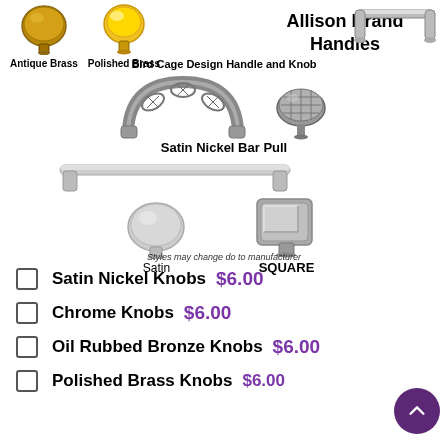[Figure (photo): Antique Brass knob and Polished Brass knob with Allison Brand Handles text, Bird Cage Design Handle and Knob with ornate handle and knob images, Satin Nickel Bar Pull with bar pull image, Satin round knob and Square knob with labels 'Satin' and 'SQUARE', and note 'Styles may change do to manufacturer']
Satin Nickel Knobs $6.00
Chrome Knobs $6.00
Oil Rubbed Bronze Knobs $6.00
Polished Brass Knobs $6.00